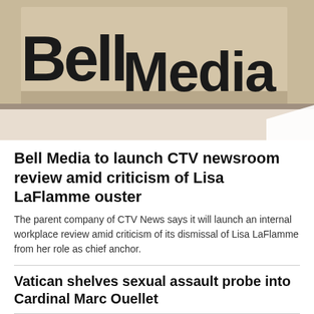[Figure (photo): Close-up photo of Bell Media sign/logo on a wall, showing large dark lettering on a light stone surface]
Bell Media to launch CTV newsroom review amid criticism of Lisa LaFlamme ouster
The parent company of CTV News says it will launch an internal workplace review amid criticism of its dismissal of Lisa LaFlamme from her role as chief anchor.
Vatican shelves sexual assault probe into Cardinal Marc Ouellet
Movie reviews: 'Beast' is not an ambitious film, but it